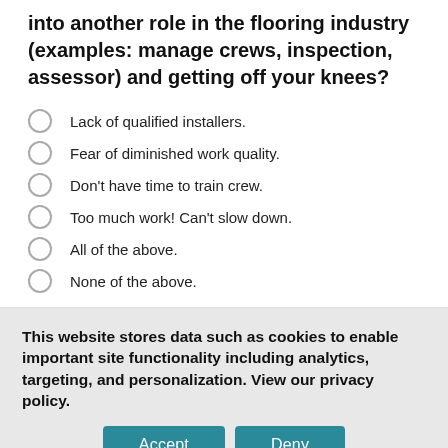into another role in the flooring industry (examples: manage crews, inspection, assessor) and getting off your knees?
Lack of qualified installers.
Fear of diminished work quality.
Don't have time to train crew.
Too much work! Can't slow down.
All of the above.
None of the above.
This website stores data such as cookies to enable important site functionality including analytics, targeting, and personalization. View our privacy policy.